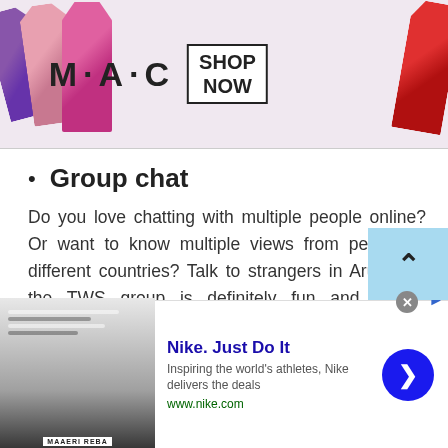[Figure (illustration): MAC cosmetics advertisement banner showing lipsticks in purple, pink, hot pink, and red colors with MAC logo and SHOP NOW button]
Group chat
Do you love chatting with multiple people online? Or want to know multiple views from people of different countries? Talk to strangers in Aruba via the TWS group is definitely fun and full of excitement. At TWS you have a medium to get different responses from other users in a group chat. Isn't it great you can get to know different people's views, perceptions and opinions on just one
[Figure (screenshot): Nike advertisement banner: Nike. Just Do It — Inspiring the world's athletes, Nike delivers the deals. www.nike.com]
Nike. Just Do It — Inspiring the world's athletes, Nike delivers the deals — www.nike.com